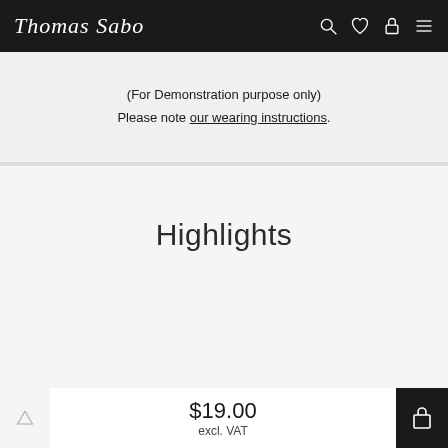Thomas Sabo
(For Demonstration purpose only)
Please note our wearing instructions.
Highlights
$19.00
excl. VAT